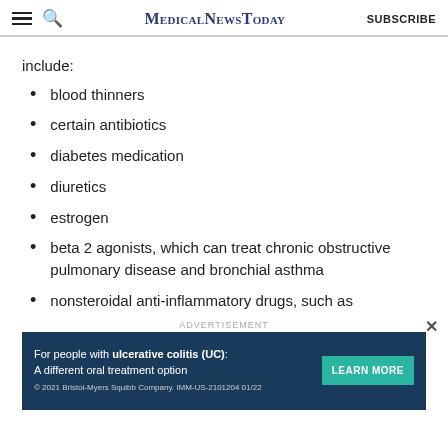MedicalNewsToday  SUBSCRIBE
include:
blood thinners
certain antibiotics
diabetes medication
diuretics
estrogen
beta 2 agonists, which can treat chronic obstructive pulmonary disease and bronchial asthma
nonsteroidal anti-inflammatory drugs, such as
[Figure (screenshot): Advertisement banner for ulcerative colitis treatment. Text: 'For people with ulcerative colitis (UC): A different oral treatment option © 2021 Bristol-Myers Squibb Company. IMM-US-2101204 01/22' with a 'LEARN MORE' button. Dark navy background with teal button.]